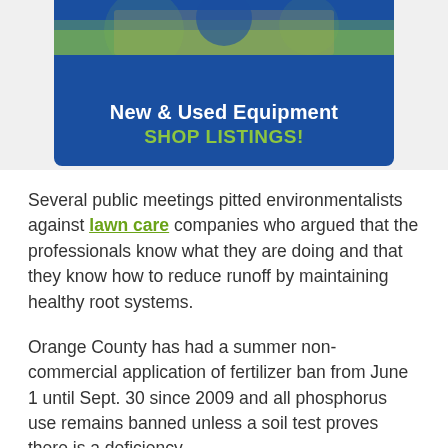[Figure (infographic): Banner advertisement with blue background showing 'New & Used Equipment SHOP LISTINGS!' text in white and green, with a grass/outdoor scene at the top.]
Several public meetings pitted environmentalists against lawn care companies who argued that the professionals know what they are doing and that they know how to reduce runoff by maintaining healthy root systems.
Orange County has had a summer non-commercial application of fertilizer ban from June 1 until Sept. 30 since 2009 and all phosphorus use remains banned unless a soil test proves there is a deficiency.